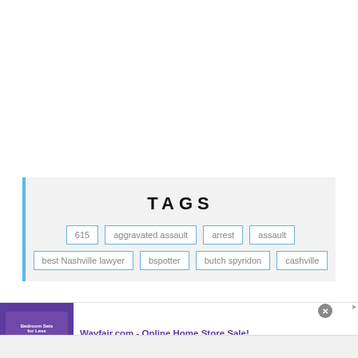TAGS
615
aggravated assault
arrest
assault
best Nashville lawyer
bspotter
butch spyridon
cashville
[Figure (other): Wayfair.com advertisement banner with purple bedroom furniture image, ad title 'Wayfair.com - Online Shop for A Zillion Things Home across all styles at Wayfair! www.wayfair.com', with close button and navigation arrow]